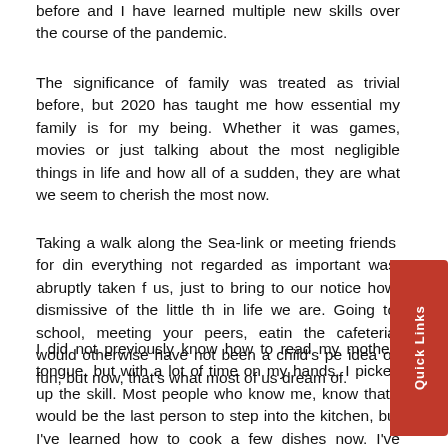before and I have learned multiple new skills over the course of the pandemic.
The significance of family was treated as trivial before, but 2020 has taught me how essential my family is for my being. Whether it was games, movies or just talking about the most negligible things in life and how all of a sudden, they are what we seem to cherish the most now.
Taking a walk along the Sea-link or meeting friends for dinner, everything not regarded as important was abruptly taken from us, just to bring to our notice how dismissive of the little things in life we are. Going to school, meeting your peers, eating in the cafeteria would otherwise have not been a child's perfect idea of fun, but now, that's what most of us dream of.
I did not previously know how to read my mother-tongue, but with a lot of time on my hands, I picked up the skill. Most people who know me, know that I would be the last person to step into the kitchen, but I've learned how to cook a few dishes now. I've discovered new musical artists and have